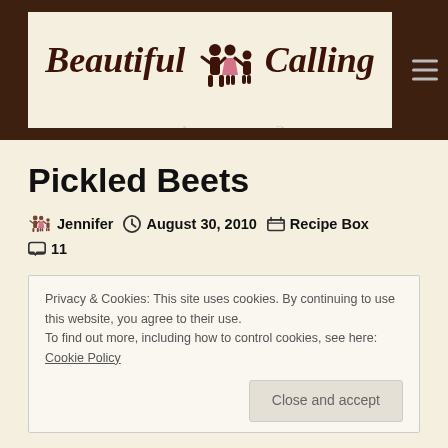Beautiful Calling
Pickled Beets
Jennifer  August 30, 2010  Recipe Box  11
Privacy & Cookies: This site uses cookies. By continuing to use this website, you agree to their use.
To find out more, including how to control cookies, see here: Cookie Policy
Close and accept